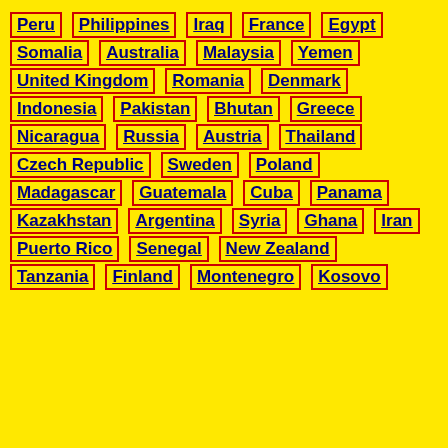Peru
Philippines
Iraq
France
Egypt
Somalia
Australia
Malaysia
Yemen
United Kingdom
Romania
Denmark
Indonesia
Pakistan
Bhutan
Greece
Nicaragua
Russia
Austria
Thailand
Czech Republic
Sweden
Poland
Madagascar
Guatemala
Cuba
Panama
Kazakhstan
Argentina
Syria
Ghana
Iran
Puerto Rico
Senegal
New Zealand
Tanzania
Finland
Montenegro
Kosovo